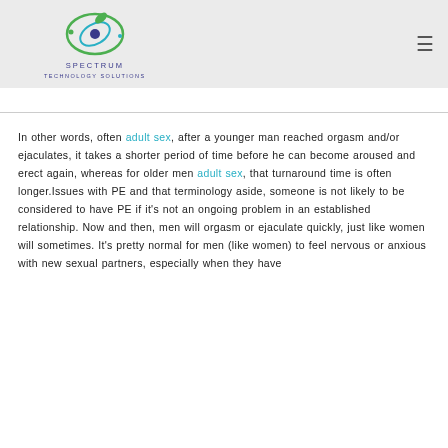Spectrum Technology Solutions [logo] [hamburger menu]
In other words, often adult sex, after a younger man reached orgasm and/or ejaculates, it takes a shorter period of time before he can become aroused and erect again, whereas for older men adult sex, that turnaround time is often longer.Issues with PE and that terminology aside, someone is not likely to be considered to have PE if it’s not an ongoing problem in an established relationship. Now and then, men will orgasm or ejaculate quickly, just like women will sometimes. It’s pretty normal for men (like women) to feel nervous or anxious with new sexual partners, especially when they have